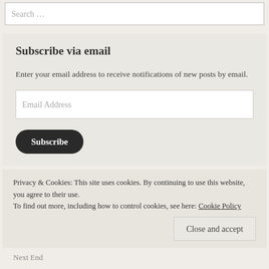Search …
Subscribe via email
Enter your email address to receive notifications of new posts by email.
Email Address
Subscribe
Privacy & Cookies: This site uses cookies. By continuing to use this website, you agree to their use.
To find out more, including how to control cookies, see here: Cookie Policy
Close and accept
Next End